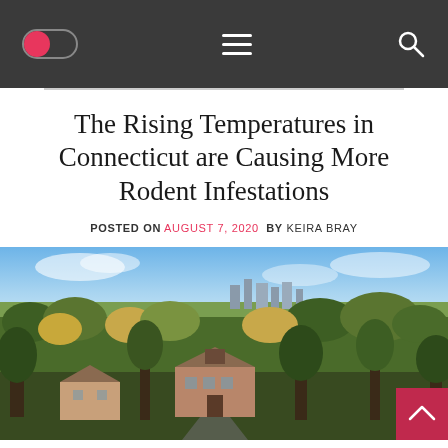Navigation bar with toggle, hamburger menu, and search icon
The Rising Temperatures in Connecticut are Causing More Rodent Infestations
POSTED ON AUGUST 7, 2020  BY KEIRA BRAY
[Figure (photo): Aerial photograph of a Connecticut suburban neighborhood with large houses surrounded by trees, with the city skyline visible in the background under a blue sky.]